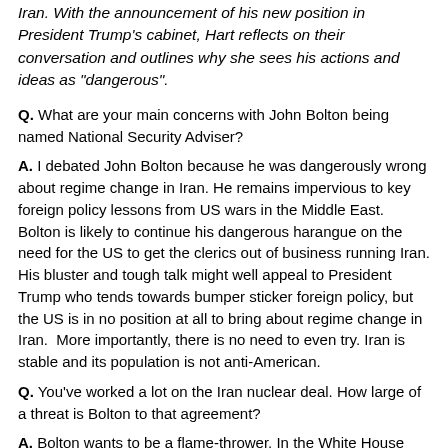Iran. With the announcement of his new position in President Trump's cabinet, Hart reflects on their conversation and outlines why she sees his actions and ideas as "dangerous".
Q. What are your main concerns with John Bolton being named National Security Adviser?
A. I debated John Bolton because he was dangerously wrong about regime change in Iran. He remains impervious to key foreign policy lessons from US wars in the Middle East. Bolton is likely to continue his dangerous harangue on the need for the US to get the clerics out of business running Iran. His bluster and tough talk might well appeal to President Trump who tends towards bumper sticker foreign policy, but the US is in no position at all to bring about regime change in Iran.  More importantly, there is no need to even try. Iran is stable and its population is not anti-American.
Q. You've worked a lot on the Iran nuclear deal. How large of a threat is Bolton to that agreement?
A. Bolton wants to be a flame-thrower. In the White House Bolton will